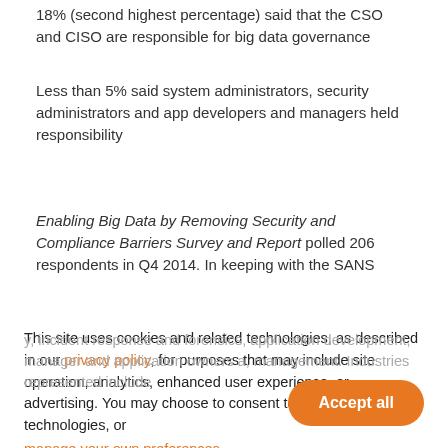18% (second highest percentage) said that the CSO and CISO are responsible for big data governance
Less than 5% said system administrators, security administrators and app developers and managers held responsibility
Enabling Big Data by Removing Security and Compliance Barriers Survey and Report polled 206 respondents in Q4 2014. In keeping with the SANS
membership base, 80 percent of respondents work in job levels within IT. In the survey, 52 as described in the survey and per the DSO, not held
This site uses cookies and related technologies, as described in our privacy policy, for purposes that may include site operation, analytics, enhanced user experience, or advertising. You may choose to consent to our use of these technologies, or manage your own preferences.
y, incident response and forensics, application development, manager and application owners a, management. Industries represented include